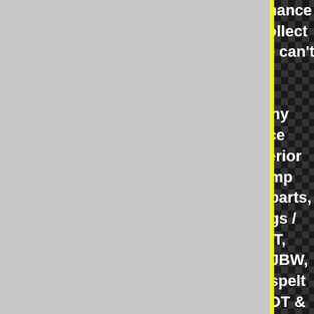If you don't see what you are looking for, we can contact Performance Parts to order, usually overnight, either to the shop for you to collect or directly to you at your address - please phone for details. If we can't help we'll try !! SpeedShack supply wheel nuts, wheel bolts and alloys of many different types, Body Styling, Performance Parts, Performance Seating, Fuel supply products, Exhaust Manifolds, Interior, exterior and under-bonnet goodies, fabricated alloy tanks, turbo's, Dump valves and accessories, brakes and Suspension, Engine tuning parts, Wheel accessories (wheelnuts + bolts, spigot rings / fitting rings / centering / locating spacers etc) from O.Z., FOX, SUPERLIGHT, MINILITE, MINILIGHT, COMPOMOTIVE, REVOLUTION WHEELS, JBW, DUNLOP, COSMIC, RONAL, ATS, WOLFRACE (commonly miss-spelt as Wolferace), MOMO, ATP, BSA, TEAM DYNAMICS, DEZENT, DOT & more... We will supply new parts for newer vehicles for all makes providing the parts are still manufactured to suit. Although we specialise in Ford, will happily supply Performance Parts for any type of car. Classic Fords of the late 60's, 70's, 80's, and modern Fords from the early 90's are our speciality. For more information : Please Call Us ! Friendly service guaranteed ! SpeedShack is well known to those who have visited us, as a friendly Aladdin's Cave type parts shop crammed
[Figure (illustration): Checkered racing flag pattern background (black and dark grey squares) with white bold text overlaid showing SpeedShack automotive parts shop description. Left side is grey panel with yellow vertical stripe separator.]